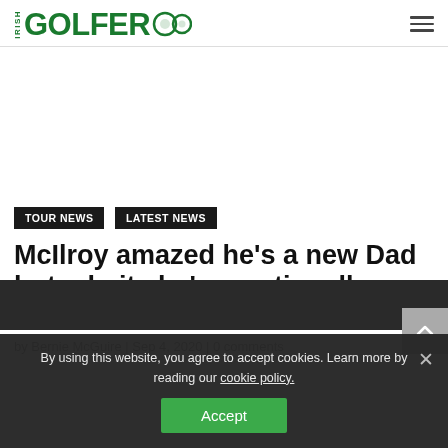IRISH GOLFER
McIlroy amazed he’s a new Dad but admits he’s emotionally drained
TOUR NEWS   LATEST NEWS
by Bernie McGuire | Sep 4, 2020 | 0 comments
By using this website, you agree to accept cookies. Learn more by reading our cookie policy.